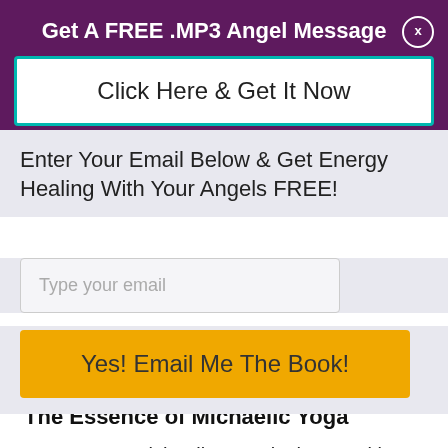Get A FREE .MP3 Angel Message
Click Here & Get It Now
Enter Your Email Below & Get Energy Healing With Your Angels FREE!
Type your email
Yes! Email Me The Book!
The Essence of Michaelic Yoga
In essence, Michaelic Yoga is the cognitive